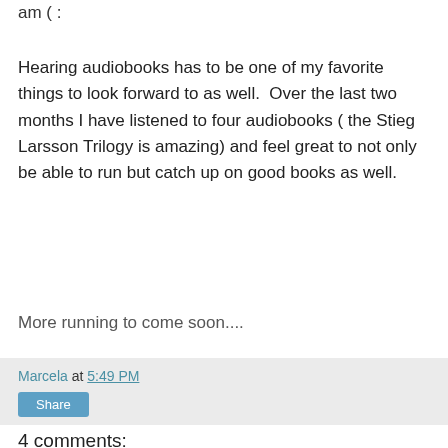am ( :
Hearing audiobooks has to be one of my favorite things to look forward to as well.  Over the last two months I have listened to four audiobooks ( the Stieg Larsson Trilogy is amazing) and feel great to not only be able to run but catch up on good books as well.
More running to come soon....
Marcela at 5:49 PM
4 comments:
SWFL Doula October 6, 2010 at 5:58 PM
you are my hero..!!! you forgot to mention that you also have to go to work!!!!. Wow! I'm so happy for you.. you